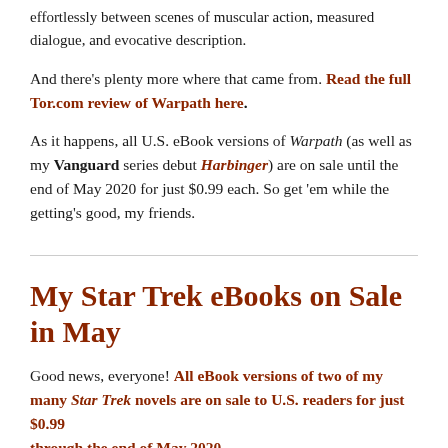effortlessly between scenes of muscular action, measured dialogue, and evocative description.
And there’s plenty more where that came from. Read the full Tor.com review of Warpath here.
As it happens, all U.S. eBook versions of Warpath (as well as my Vanguard series debut Harbinger) are on sale until the end of May 2020 for just $0.99 each. So get ‘em while the getting’s good, my friends.
My Star Trek eBooks on Sale in May
Good news, everyone! All eBook versions of two of my many Star Trek novels are on sale to U.S. readers for just $0.99 through the end of May 2020.